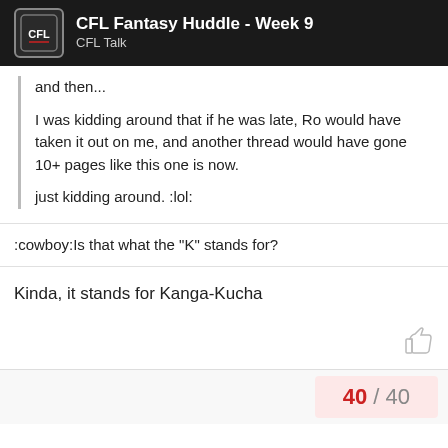CFL Fantasy Huddle - Week 9 | CFL Talk
and then...
I was kidding around that if he was late, Ro would have taken it out on me, and another thread would have gone 10+ pages like this one is now.
just kidding around. :lol:
:cowboy:Is that what the "K" stands for?
Kinda, it stands for Kanga-Kucha
40 / 40